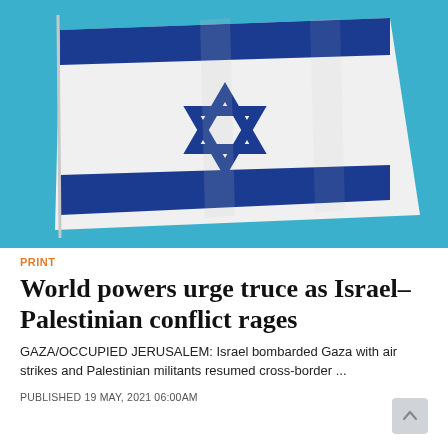[Figure (photo): Israeli flag waving against a blue sky, showing the white fabric with blue horizontal stripes and the Star of David in the center]
PRINT
World powers urge truce as Israel–Palestinian conflict rages
GAZA/OCCUPIED JERUSALEM: Israel bombarded Gaza with air strikes and Palestinian militants resumed cross-border ...
PUBLISHED 19 MAY, 2021 06:00AM